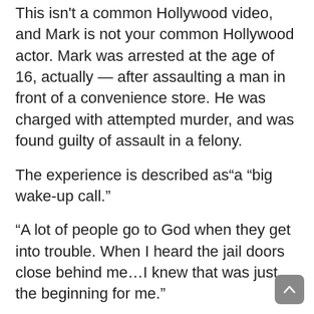This isn't a common Hollywood video, and Mark is not your common Hollywood actor. Mark was arrested at the age of 16, actually — after assaulting a man in front of a convenience store. He was charged with attempted murder, and was found guilty of assault in a felony.
The experience is described as“a “big wake-up call.”
“A lot of people go to God when they get into trouble. When I heard the jail doors close behind me…I knew that was just the beginning for me.”
Wahlberg praises his faith in God and the Church as helping him transform his life. And he appears to be moving toward a more outspoken stance — Easter